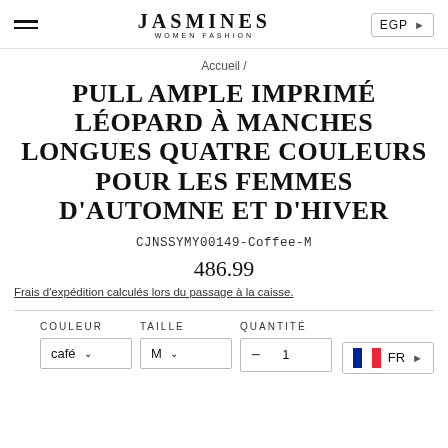JASMINES WOMEN FASHION | EGP
Accueil /
PULL AMPLE IMPRIMÉ LÉOPARD À MANCHES LONGUES QUATRE COULEURS POUR LES FEMMES D'AUTOMNE ET D'HIVER
CJNSSYMY00149-Coffee-M
486.99
Frais d'expédition calculés lors du passage à la caisse.
COULEUR   TAILLE   QUANTITÉ
café ∨   M ∨   − 1 +